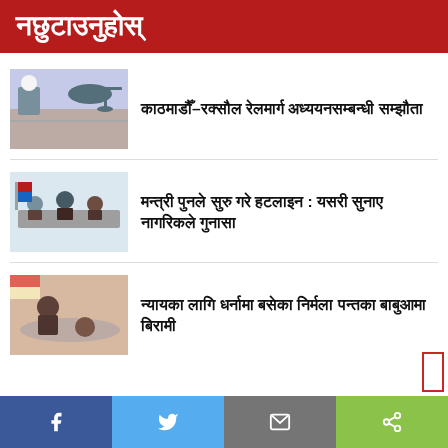नछुटाउनुहोस्
काठमाडौँ–रक्सौल रेलमार्ग अध्ययनसम्बन्धी सम्झौता
मन्त्री पुनले सुरु गरे हटलाइन : यसरी सुनाए नागरिकले गुनासा
न्यायका लागि धर्नामा बसेका निर्मला पन्तका बाबुआमा बिरामी